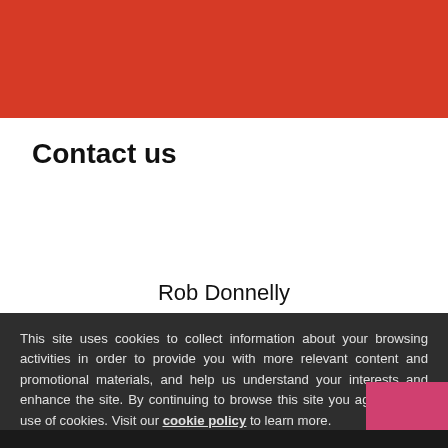[Figure (other): Red banner at top of page]
Contact us
Rob Donnelly
This site uses cookies to collect information about your browsing activities in order to provide you with more relevant content and promotional materials, and help us understand your interests and enhance the site. By continuing to browse this site you agree to the use of cookies. Visit our cookie policy to learn more.